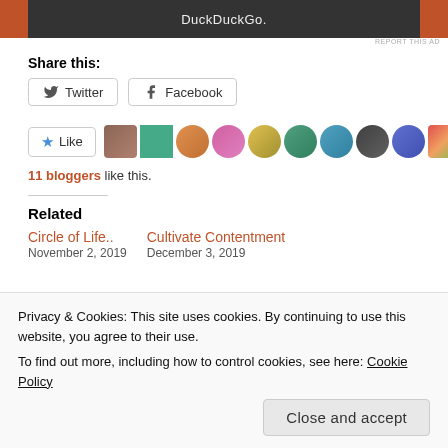[Figure (screenshot): DuckDuckGo advertisement banner with dark center and orange sides]
REPORT THIS AD
Share this:
[Figure (screenshot): Twitter and Facebook share buttons]
[Figure (screenshot): Like button with star icon and 10 blogger avatars]
11 bloggers like this.
Related
Circle of Life..
Cultivate Contentment
Privacy & Cookies: This site uses cookies. By continuing to use this website, you agree to their use.
To find out more, including how to control cookies, see here: Cookie Policy